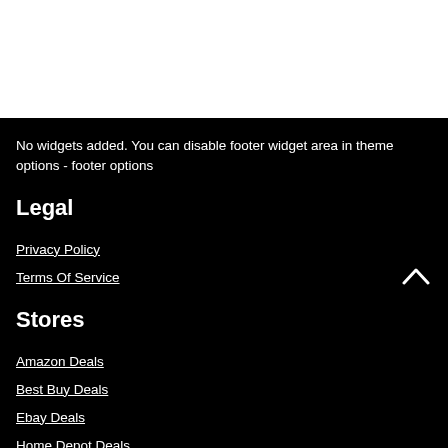No widgets added. You can disable footer widget area in theme options - footer options
Legal
Privacy Policy
Terms Of Service
Stores
Amazon Deals
Best Buy Deals
Ebay Deals
Home Depot Deals
Target Deals